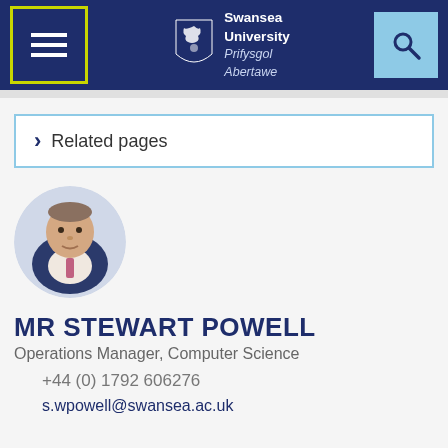Swansea University / Prifysgol Abertawe
Related pages
[Figure (photo): Circular profile photo of Mr Stewart Powell, a man in a suit and tie]
MR STEWART POWELL
Operations Manager, Computer Science
+44 (0) 1792 606276
s.wpowell@swansea.ac.uk